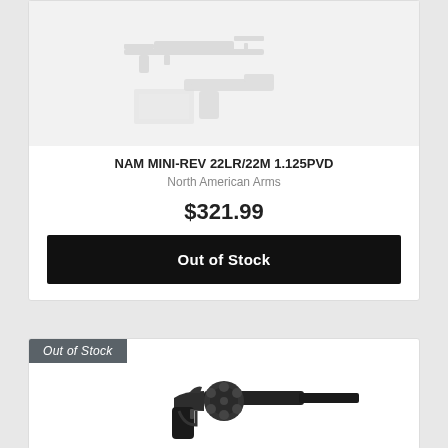[Figure (photo): Product placeholder image showing a rifle and a handgun silhouette in gray on a light background]
NAM MINI-REV 22LR/22M 1.125PVD
North American Arms
$321.99
Out of Stock
Out of Stock
[Figure (photo): Close-up photo of a small black revolver (mini revolver) showing the cylinder and barrel]